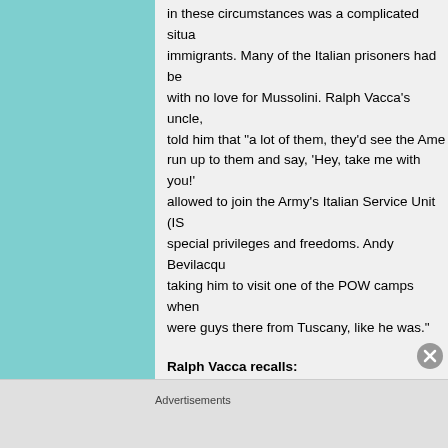in these circumstances was a complicated situation for Italian immigrants. Many of the Italian prisoners had been conscripted with no love for Mussolini. Ralph Vacca's uncle, who had told him that "a lot of them, they'd see the Americans and run up to them and say, 'Hey, take me with you!'" were allowed to join the Army's Italian Service Unit (ISU) with special privileges and freedoms. Andy Bevilacqua recalled taking him to visit one of the POW camps when he was eight were guys there from Tuscany, like he was."
Ralph Vacca recalls:
"They weren't hard line fascists and, so on weekends the prisoners would get passes to go out to visit Italian—they couldn't speak English—but I remember they would come to my mother's and my mother had nine brothers and s
Advertisements